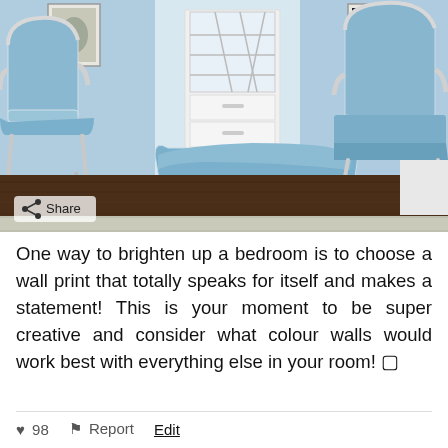[Figure (photo): A blue-themed sitting room with two French-style armchairs upholstered in light blue fabric with white painted wooden frames, a matching ottoman/footstool in the center, a white dresser/cabinet with lattice glass doors in the background, hardwood dark floors, framed artwork on the walls, and a share button overlay in the bottom left corner.]
One way to brighten up a bedroom is to choose a wall print that totally speaks for itself and makes a statement! This is your moment to be super creative and consider what colour walls would work best with everything else in your room! 🔲
♥ 98   🚩 Report   Edit